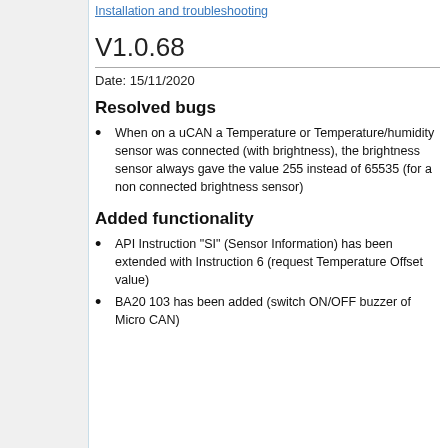Installation and troubleshooting
V1.0.68
Date: 15/11/2020
Resolved bugs
When on a uCAN a Temperature or Temperature/humidity sensor was connected (with brightness), the brightness sensor always gave the value 255 instead of 65535 (for a non connected brightness sensor)
Added functionality
API Instruction "SI" (Sensor Information) has been extended with Instruction 6 (request Temperature Offset value)
BA20 103 has been added (switch ON/OFF buzzer of Micro CAN)